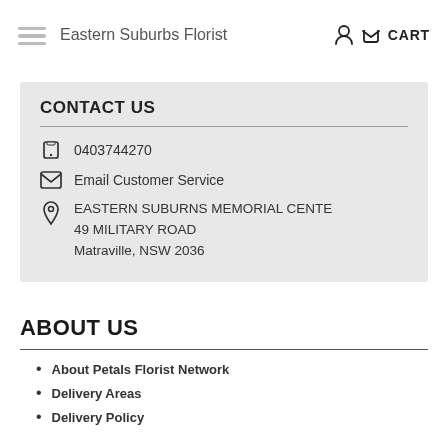Eastern Suburbs Florist   🧑 🛒 CART
CONTACT US
0403744270
Email Customer Service
EASTERN SUBURNS MEMORIAL CENTE
49 MILITARY ROAD
Matraville, NSW 2036
ABOUT US
About Petals Florist Network
Delivery Areas
Delivery Policy